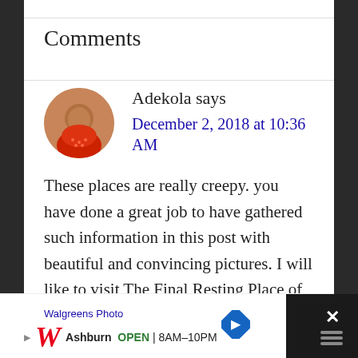Comments
Adekola says
December 2, 2018 at 10:36 AM
These places are really creepy. you have done a great job to have gathered such information in this post with beautiful and convincing pictures. I will like to visit The Final Resting Place of Titanic Victims (Canada).
[Figure (other): Advertisement banner for Walgreens Photo showing logo, Ashburn location, OPEN 8AM-10PM text, and navigation arrow]
[Figure (other): Social action buttons: heart icon with count 155, and share button]